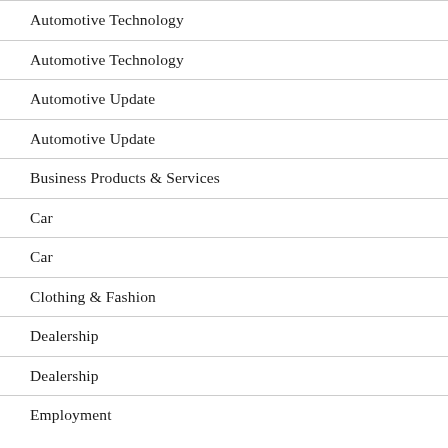Automotive Technology
Automotive Technology
Automotive Update
Automotive Update
Business Products & Services
Car
Car
Clothing & Fashion
Dealership
Dealership
Employment